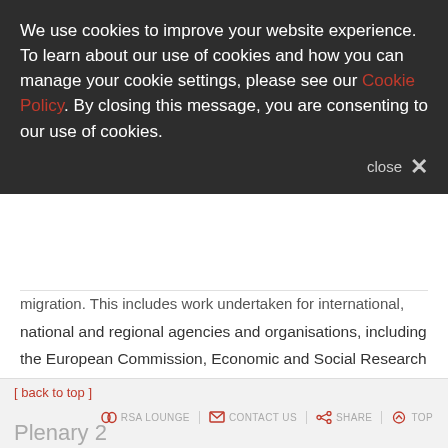We use cookies to improve your website experience. To learn about our use of cookies and how you can manage your cookie settings, please see our Cookie Policy. By closing this message, you are consenting to our use of cookies.
migration. This includes work undertaken for international, national and regional agencies and organisations, including the European Commission, Economic and Social Research Council (ESRC), Dept. for Communities and Local Government (DCLG; ) and Dept. for Business, Innovation and Skills (BIS; UK).
Stuart will present on "Developing a career which balances research, teaching and policy engagement?"
[ back to top ]
RSA LOUNGE   CONTACT US   SHARE   TOP